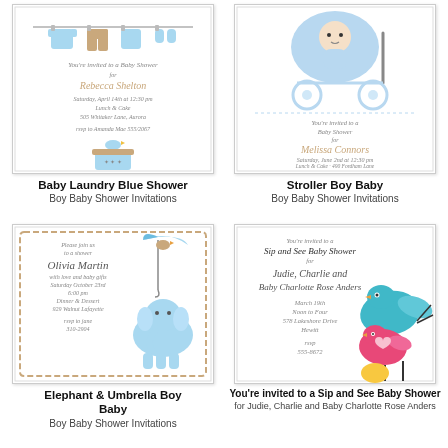[Figure (illustration): Baby Laundry Blue Shower invitation card with baby clothes on a clothesline, a bird, and a cupcake]
Baby Laundry Blue Shower
Boy Baby Shower Invitations
[Figure (illustration): Stroller Boy Baby invitation card with a baby in a stroller illustration]
Stroller Boy Baby
Boy Baby Shower Invitations
[Figure (illustration): Elephant & Umbrella Boy Baby invitation card with an elephant holding an umbrella with a bird]
Elephant & Umbrella Boy Baby
Boy Baby Shower Invitations
[Figure (illustration): Sip and See Baby Shower invitation card with colorful birds illustration]
You're invited to a Sip and See Baby Shower for Judie, Charlie and Baby Charlotte Rose Anders
March 19th Noon to Four 578 Lakeshore Drive Hewitt rsvp 555-8672